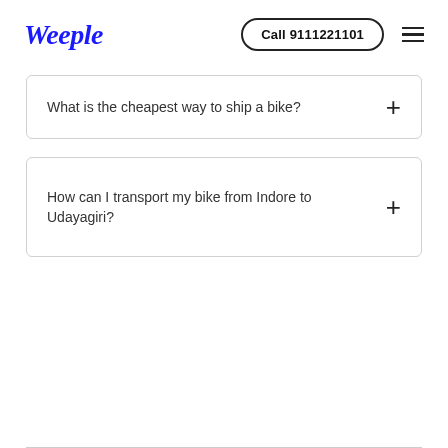Weeple | Call 9111221101
What is the cheapest way to ship a bike?
How can I transport my bike from Indore to Udayagiri?